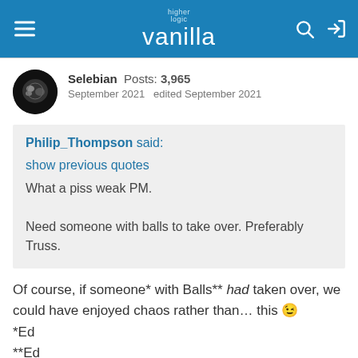higher logic vanilla
Selebian  Posts: 3,965
September 2021   edited September 2021
Philip_Thompson said:
show previous quotes
What a piss weak PM.

Need someone with balls to take over. Preferably Truss.
Of course, if someone* with Balls** had taken over, we could have enjoyed chaos rather than… this 😉
*Ed
**Ed
PS: I assume Sunak is better for your book than Truss